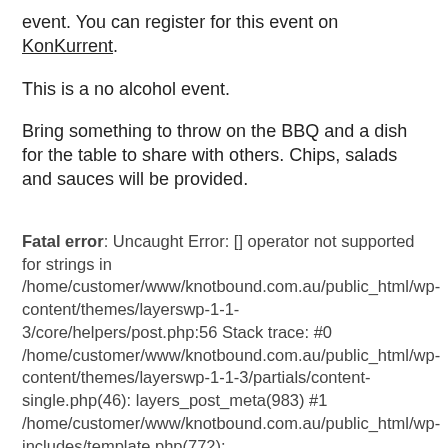event. You can register for this event on KonKurrent.
This is a no alcohol event.
Bring something to throw on the BBQ and a dish for the table to share with others. Chips, salads and sauces will be provided.
Fatal error: Uncaught Error: [] operator not supported for strings in /home/customer/www/knotbound.com.au/public_html/wp-content/themes/layerswp-1-1-3/core/helpers/post.php:56 Stack trace: #0 /home/customer/www/knotbound.com.au/public_html/wp-content/themes/layerswp-1-1-3/partials/content-single.php(46): layers_post_meta(983) #1 /home/customer/www/knotbound.com.au/public_html/wp-includes/template.php(772): require('/home/customer/...') #2